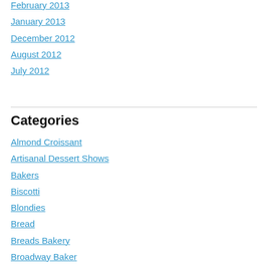February 2013
January 2013
December 2012
August 2012
July 2012
Categories
Almond Croissant
Artisanal Dessert Shows
Bakers
Biscotti
Blondies
Bread
Breads Bakery
Broadway Baker
Brownies
Buttercup Bake Shop
Cake